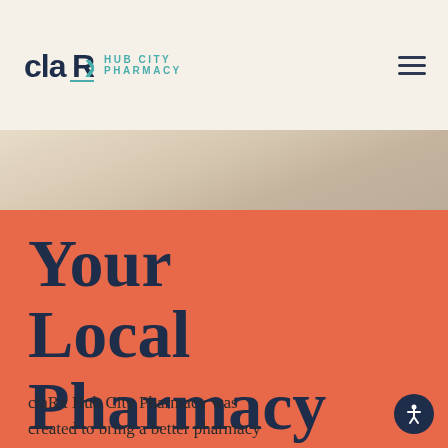claRx Hub City Pharmacy
[Figure (photo): Hero background image with soft beige/tan gradient tones, blurred surface]
Your Local Pharmacy
claRx Hub City Pharmacy was created to bring a better pharmacy